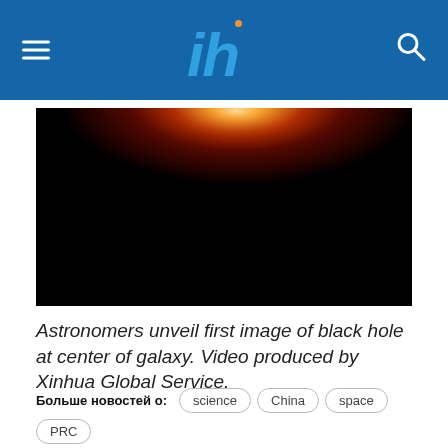IH logo
[Figure (photo): Dark astrophysical image showing a glowing orange-red light (resembling a black hole or galactic core) against a black background, with bright orange-white center fading to dark red.]
Astronomers unveil first image of black hole at center of galaxy. Video produced by Xinhua Global Service.
Больше новостей о: science  China  space  PRC  Astronomers  Black hole